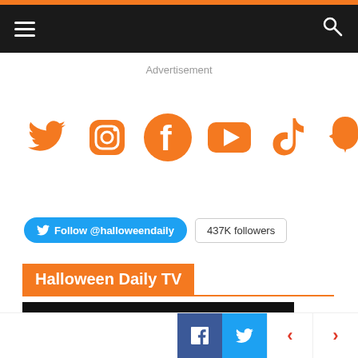Navigation bar with hamburger menu and search icon
Advertisement
[Figure (infographic): Six orange social media icons in a row: Twitter, Instagram, Facebook, YouTube, TikTok, Snapchat]
Follow @halloweendaily  437K followers
Halloween Daily TV
[Figure (screenshot): Thumbnail of Halloween Daily TV video with dark background and orange HALLOWEEN text]
Facebook share, Twitter share, previous and next navigation buttons